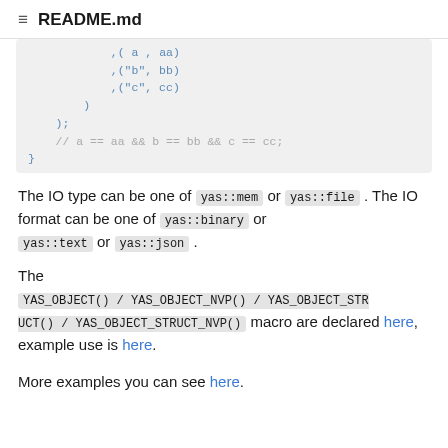README.md
,( a , aa)
,("b", bb)
,("c", cc)
    )
    );
    // a == aa && b == bb && c == cc;
}
The IO type can be one of yas::mem or yas::file . The IO format can be one of yas::binary or yas::text or yas::json .
The YAS_OBJECT() / YAS_OBJECT_NVP() / YAS_OBJECT_STRUCT() / YAS_OBJECT_STRUCT_NVP() macro are declared here, example use is here.
More examples you can see here.